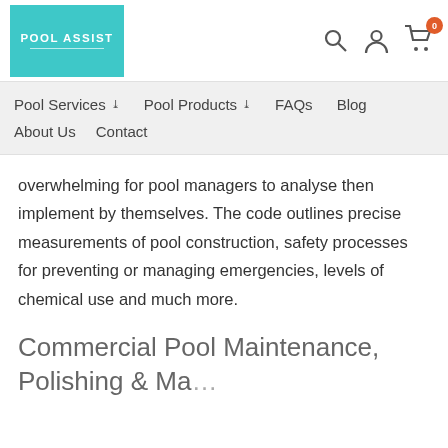POOL ASSIST
Pool Services  Pool Products  FAQs  Blog  About Us  Contact
overwhelming for pool managers to analyse then implement by themselves. The code outlines precise measurements of pool construction, safety processes for preventing or managing emergencies, levels of chemical use and much more.
Commercial Pool Maintenance, Polishing & Management